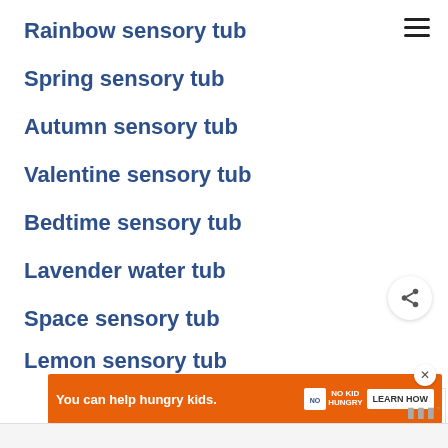Rainbow sensory tub
Spring sensory tub
Autumn sensory tub
Valentine sensory tub
Bedtime sensory tub
Lavender water tub
Space sensory tub
Lemon sensory tub
[Figure (infographic): Heart/like button (teal circle with white heart icon), count badge showing 1, and share button (white circle with share icon)]
[Figure (infographic): What's Next promo panel: thumbnail image of 2D shapes and 3D blocks, label WHAT'S NEXT with arrow, text: Painting 2D Shapes with...]
[Figure (infographic): Ad banner: orange background, text 'You can help hungry kids.', No Kid Hungry logo, LEARN HOW button, close X button]